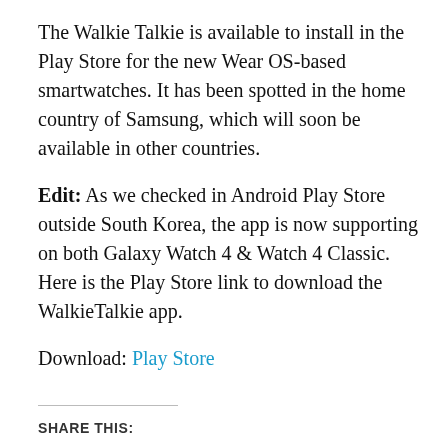The Walkie Talkie is available to install in the Play Store for the new Wear OS-based smartwatches. It has been spotted in the home country of Samsung, which will soon be available in other countries.
Edit: As we checked in Android Play Store outside South Korea, the app is now supporting on both Galaxy Watch 4 & Watch 4 Classic. Here is the Play Store link to download the WalkieTalkie app.
Download: Play Store
SHARE THIS:
[Figure (infographic): Social share buttons: Twitter (blue), Facebook (blue), LinkedIn (dark blue), Reddit (light grey), Pinterest (red)]
RELATED